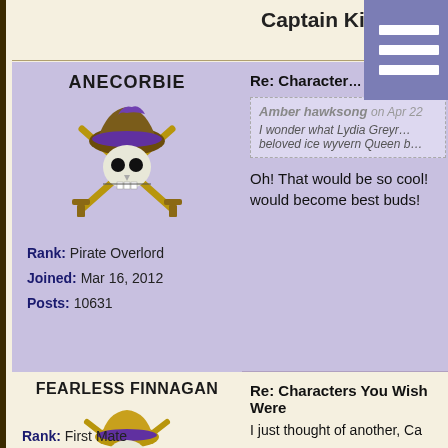Captain Kidd
[Figure (other): Purple hamburger menu icon with three white horizontal bars]
ANECORBIE
[Figure (illustration): Pirate skull and crossbones avatar with purple hat and gold swords]
Rank: Pirate Overlord
Joined: Mar 16, 2012
Posts: 10631
Re: Characters You Wish Were
Amber hawksong on Apr 22
I wonder what Lydia Greyr... beloved ice wyvern Queen b...
Oh! That would be so cool! would become best buds!
FEARLESS FINNAGAN
[Figure (illustration): Pirate jester/mask avatar with purple hat and gold swords]
Re: Characters You Wish Were
I just thought of another, Ca
Rank: First Mate